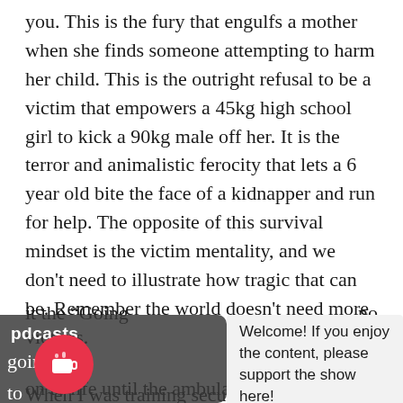you. This is the fury that engulfs a mother when she finds someone attempting to harm her child. This is the outright refusal to be a victim that empowers a 45kg high school girl to kick a 90kg male off her. It is the terror and animalistic ferocity that lets a 6 year old bite the face of a kidnapper and run for help. The opposite of this survival mindset is the victim mentality, and we don't need to illustrate how tragic that can be. Remember the world doesn't need more victims.
When I was training security professionals I used to call it the "Going [...]  no way is going [...] ly to [...]" It's [...] six [...] wo[...] on to life until the ambulance arrives.
[Figure (screenshot): Dark overlay bar on left side showing 'pdcasts' label partially visible, a red circular coffee/support button icon, and a popup message reading 'Welcome! If you enjoy the content, please support the show here!']